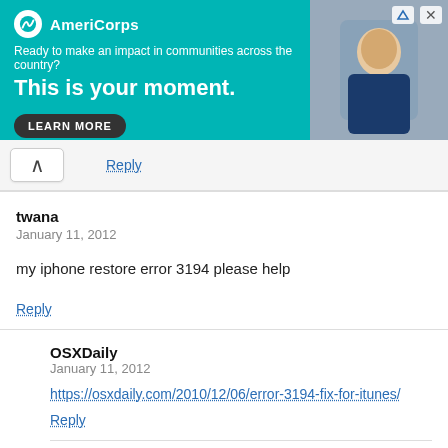[Figure (other): AmeriCorps advertisement banner with teal background, logo, tagline 'Ready to make an impact in communities across the country?', headline 'This is your moment.', LEARN MORE button, and photo of a person on the right.]
Reply
twana
January 11, 2012
my iphone restore error 3194 please help
Reply
OSXDaily
January 11, 2012
https://osxdaily.com/2010/12/06/error-3194-fix-for-itunes/
Reply
sakiii
December 21, 2011
i downloaded your link for iOS 5.0.1 but how can i use